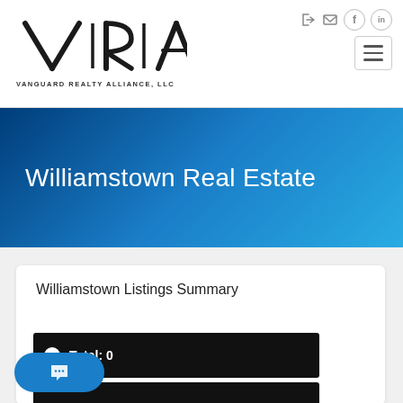[Figure (logo): VRA - Vanguard Realty Alliance, LLC logo with stylized V|R|A lettermark]
[Figure (other): Navigation icons: login arrow, envelope, Facebook circle, LinkedIn circle, and hamburger menu button]
Williamstown Real Estate
Williamstown Listings Summary
Total: 0
[Figure (other): Chat bubble button with ellipsis dots]